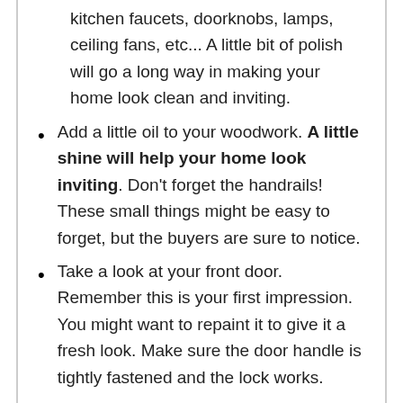kitchen faucets, doorknobs, lamps, ceiling fans, etc... A little bit of polish will go a long way in making your home look clean and inviting.
Add a little oil to your woodwork. A little shine will help your home look inviting. Don't forget the handrails! These small things might be easy to forget, but the buyers are sure to notice.
Take a look at your front door. Remember this is your first impression. You might want to repaint it to give it a fresh look. Make sure the door handle is tightly fastened and the lock works.
Don't forget to clean both the inside and outside of your windows, including the